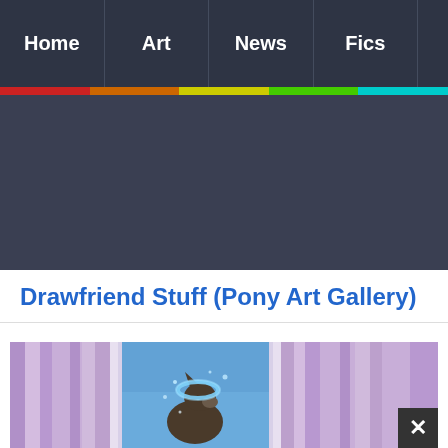Home | Art | News | Fics
Drawfriend Stuff (Pony Art Gallery)
[Figure (illustration): Colorful pony art illustration with purple curtain/fabric background and blue sky, featuring a pony character with a blue aura/sparkle effect. A dark close/dismiss button with an X is overlaid in the bottom-right corner.]